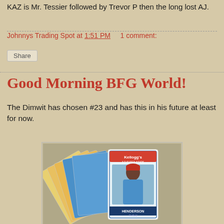KAZ is Mr. Tessier followed by Trevor P then the long lost AJ.
Johnnys Trading Spot at 1:51 PM    1 comment:
Share
Good Morning BFG World!
The Dimwit has chosen #23 and has this in his future at least for now.
[Figure (photo): A fan of Kellogg's baseball cards spread out, showing multiple cards with a player in a blue uniform visible on top card.]